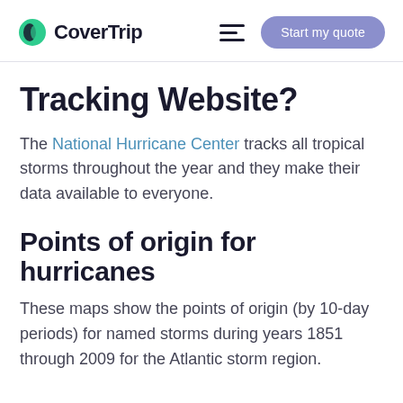CoverTrip — Start my quote
Tracking Website?
The National Hurricane Center tracks all tropical storms throughout the year and they make their data available to everyone.
Points of origin for hurricanes
These maps show the points of origin (by 10-day periods) for named storms during years 1851 through 2009 for the Atlantic storm region.